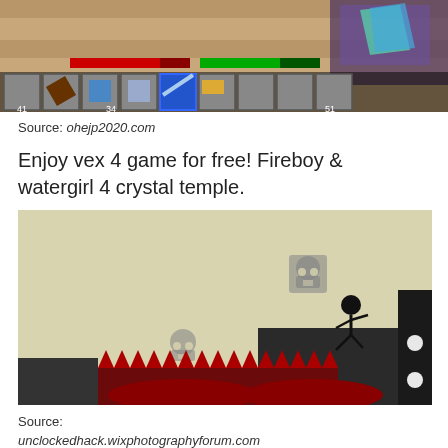[Figure (screenshot): Minecraft game screenshot showing hotbar with items numbered 41, 34, 51, health/armor bar, and a close button X in the top right]
Source: ohejp2020.com
Enjoy vex 4 game for free! Fireboy & watergirl 4 crystal temple.
[Figure (screenshot): Vex 4 game screenshot showing a stickman character standing on a dark platform, with skull icons floating in the background and red spikes/hazards at the bottom]
Source:
unclockedhack.wixphotographyforum.com